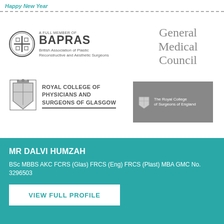Happy New Year
[Figure (logo): BAPRAS logo: circular emblem with 'A FULL MEMBER OF BAPRAS – British Association of Plastic Reconstructive and Aesthetic Surgeons']
[Figure (logo): General Medical Council text logo in grey serif font]
[Figure (logo): Royal College of Physicians and Surgeons of Glasgow logo with crest and text underline]
[Figure (logo): The Royal College of Surgeons of England logo on grey background]
MR DALVI HUMZAH
BSc MBBS AKC FCRS (Glas) FRCS (Eng) FRCS (Plast) MBA GMC No. 3296503
VIEW FULL PROFILE